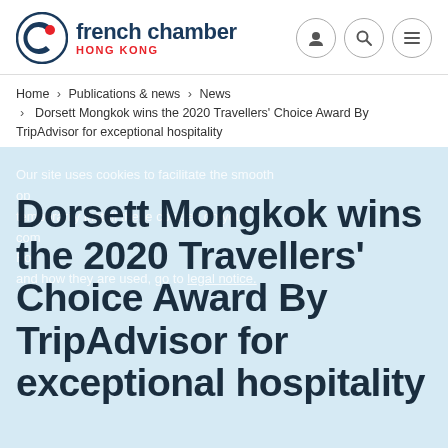[Figure (logo): French Chamber Hong Kong logo with circular C icon and red accent]
Home › Publications & news › News › Dorsett Mongkok wins the 2020 Travellers' Choice Award By TripAdvisor for exceptional hospitality
Dorsett Mongkok wins the 2020 Travellers' Choice Award By TripAdvisor for exceptional hospitality
27 November 2020